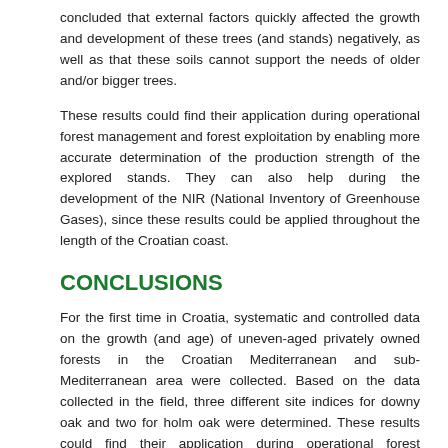concluded that external factors quickly affected the growth and development of these trees (and stands) negatively, as well as that these soils cannot support the needs of older and/or bigger trees.
These results could find their application during operational forest management and forest exploitation by enabling more accurate determination of the production strength of the explored stands. They can also help during the development of the NIR (National Inventory of Greenhouse Gases), since these results could be applied throughout the length of the Croatian coast.
CONCLUSIONS
For the first time in Croatia, systematic and controlled data on the growth (and age) of uneven-aged privately owned forests in the Croatian Mediterranean and sub-Mediterranean area were collected. Based on the data collected in the field, three different site indices for downy oak and two for holm oak were determined. These results could find their application during operational forest management and forest exploitation by enabling more accurate determination of the production strength of the explored stands.